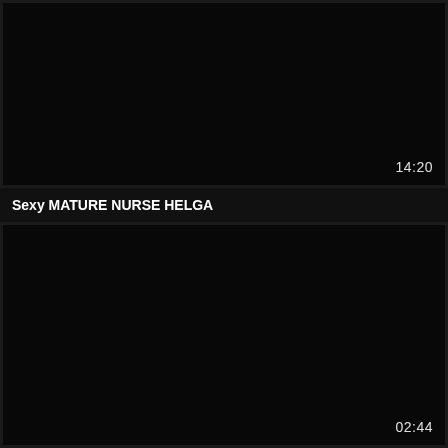[Figure (screenshot): Black video thumbnail with duration timestamp 14:20 in bottom right corner]
Sexy MATURE NURSE HELGA
[Figure (screenshot): Black video thumbnail with duration timestamp 02:44 in bottom right corner]